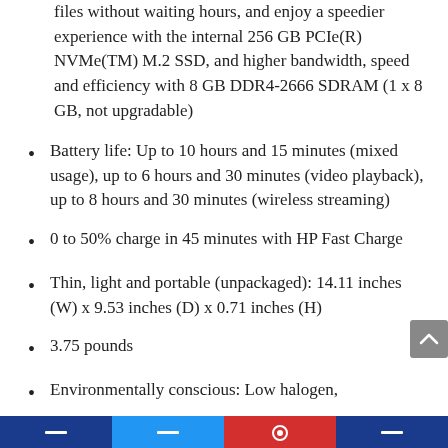files without waiting hours, and enjoy a speedier experience with the internal 256 GB PCIe(R) NVMe(TM) M.2 SSD, and higher bandwidth, speed and efficiency with 8 GB DDR4-2666 SDRAM (1 x 8 GB, not upgradable)
Battery life: Up to 10 hours and 15 minutes (mixed usage), up to 6 hours and 30 minutes (video playback), up to 8 hours and 30 minutes (wireless streaming)
0 to 50% charge in 45 minutes with HP Fast Charge
Thin, light and portable (unpackaged): 14.11 inches (W) x 9.53 inches (D) x 0.71 inches (H)
3.75 pounds
Environmentally conscious: Low halogen,